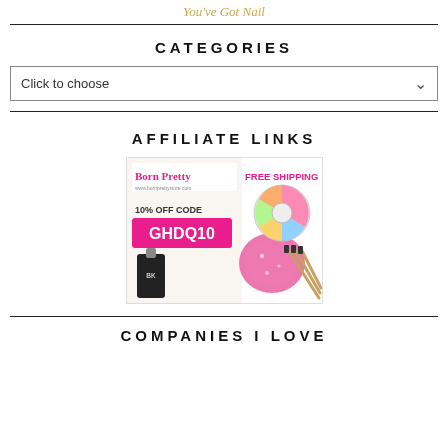You've Got Nail
CATEGORIES
Click to choose
AFFILIATE LINKS
[Figure (illustration): Born Pretty Store affiliate ad banner showing nail art products including rhinestones, glitter, nail brushes, and a nail polish bottle. Text reads 'Born Pretty FREE SHIPPING 10% OFF CODE GHDQ10']
COMPANIES I LOVE